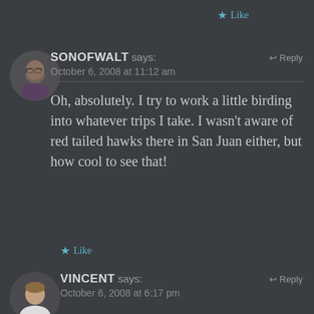★ Like
SONOFWALT says:  ↩ Reply
October 6, 2008 at 11:12 am

Oh, absolutely. I try to work a little birding into whatever trips I take. I wasn't aware of red tailed hawks there in San Juan either, but how cool to see that!
★ Like
VINCENT says:  ↩ Reply
October 6, 2008 at 6:17 pm